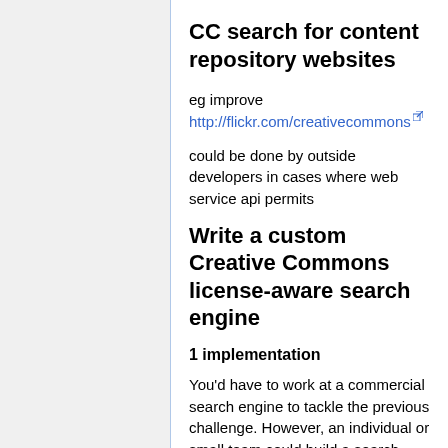CC search for content repository websites
eg improve http://flickr.com/creativecommons
could be done by outside developers in cases where web service api permits
Write a custom Creative Commons license-aware search engine
1 implementation
You'd have to work at a commercial search engine to tackle the previous challenge. However, an individual or small team could build a search engine exclusively for Creative Commons-